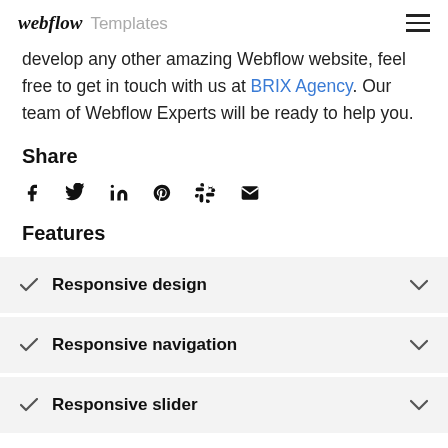webflow Templates
develop any other amazing Webflow website, feel free to get in touch with us at BRIX Agency. Our team of Webflow Experts will be ready to help you.
Share
[Figure (infographic): Social share icons: Facebook, Twitter, LinkedIn, Pinterest, Slack, Email]
Features
Responsive design
Responsive navigation
Responsive slider